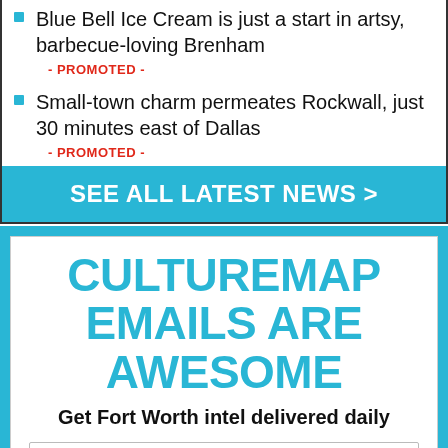Blue Bell Ice Cream is just a start in artsy, barbecue-loving Brenham
- PROMOTED -
Small-town charm permeates Rockwall, just 30 minutes east of Dallas
- PROMOTED -
SEE ALL LATEST NEWS >
CULTUREMAP EMAILS ARE AWESOME
Get Fort Worth intel delivered daily
Enter your email address